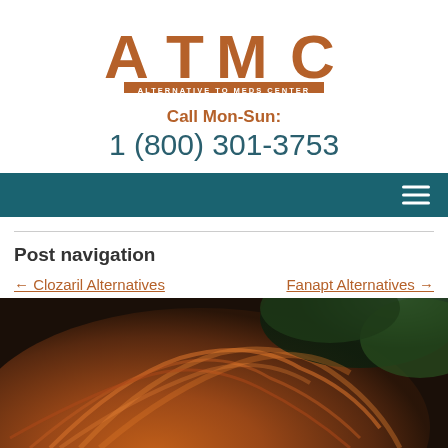[Figure (logo): ATMC logo with stylized A, T, M, C letters in brown/rust color and 'ALTERNATIVE TO MEDS CENTER' tagline on brown bar]
Call Mon-Sun:
1 (800) 301-3753
[Figure (other): Dark teal navigation bar with hamburger menu icon on the right]
Post navigation
← Clozaril Alternatives
Fanapt Alternatives →
[Figure (photo): Photo of a woman with red/auburn hair seen from behind, with green foliage in background]